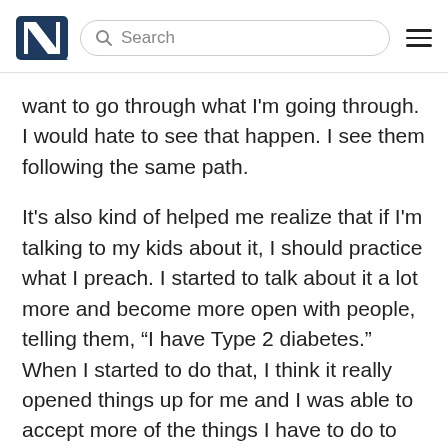[Logo] Search [Menu]
want to go through what I'm going through. I would hate to see that happen. I see them following the same path.
It's also kind of helped me realize that if I'm talking to my kids about it, I should practice what I preach. I started to talk about it a lot more and become more open with people, telling them, “I have Type 2 diabetes.” When I started to do that, I think it really opened things up for me and I was able to accept more of the things I have to do to manage my condition. That's kind of how I got here.